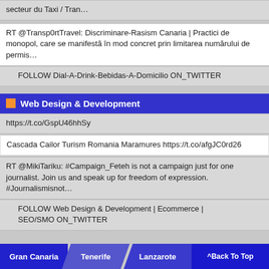secteur du Taxi / Tran…
RT @Transp0rtTravel: Discriminare-Rasism Canaria | Practici de monopol, care se manifestă în mod concret prin limitarea numărului de permis…
FOLLOW Dial-A-Drink-Bebidas-A-Domicilio ON_TWITTER
Web Design & Development
https://t.co/GspU46hhSy
Cascada Cailor Turism Romania Maramures https://t.co/afgJC0rd26
RT @MikiTariku: #Campaign_Feteh is not a campaign just for one journalist. Join us and speak up for freedom of expression. #Journalismisnot…
FOLLOW Web Design & Development | Ecommerce | SEO/SMO ON_TWITTER
Gran Canaria   Tenerife   Lanzarote   ^Back To Top